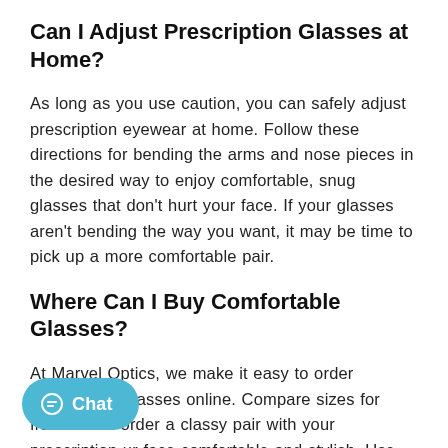Can I Adjust Prescription Glasses at Home?
As long as you use caution, you can safely adjust prescription eyewear at home. Follow these directions for bending the arms and nose pieces in the desired way to enjoy comfortable, snug glasses that don't hurt your face. If your glasses aren't bending the way you want, it may be time to pick up a more comfortable pair.
Where Can I Buy Comfortable Glasses?
At Marvel Optics, we make it easy to order comfortable glasses online. Compare sizes for frames and order a classy pair with your prescription ur face comfortable and stylish. Use views and detailed specifications to ensure the best pair for your face shape and